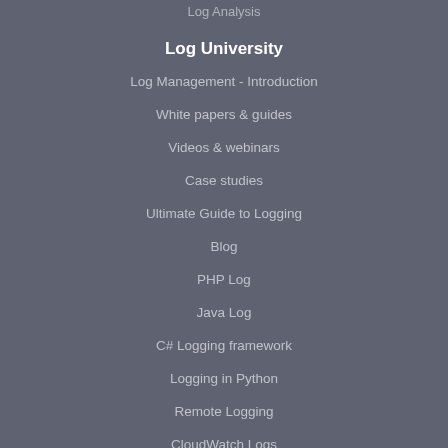Log Analysis
Log University
Log Management - Introduction
White papers & guides
Videos & webinars
Case studies
Ultimate Guide to Logging
Blog
PHP Log
Java Log
C# Logging framework
Logging in Python
Remote Logging
CloudWatch Logs
CloudTrail Logs